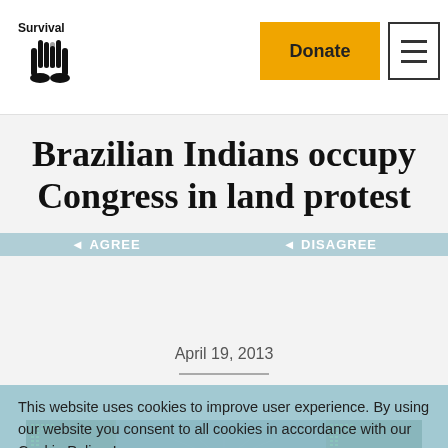Survival | Donate
Brazilian Indians occupy Congress in land protest
April 19, 2013
[Figure (photo): Interior of Brazilian Congress chamber crowded with indigenous protestors, with large blue-lit display boards visible in the background]
This website uses cookies to improve user experience. By using our website you consent to all cookies in accordance with our Cookie Policy. Learn more
AGREE   DISAGREE